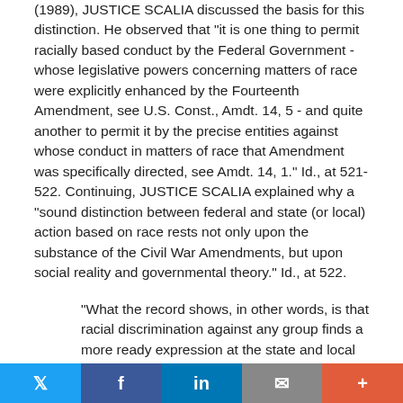(1989), JUSTICE SCALIA discussed the basis for this distinction. He observed that "it is one thing to permit racially based conduct by the Federal Government - whose legislative powers concerning matters of race were explicitly enhanced by the Fourteenth Amendment, see U.S. Const., Amdt. 14, 5 - and quite another to permit it by the precise entities against whose conduct in matters of race that Amendment was specifically directed, see Amdt. 14, 1." Id., at 521-522. Continuing, JUSTICE SCALIA explained why a "sound distinction between federal and state (or local) action based on race rests not only upon the substance of the Civil War Amendments, but upon social reality and governmental theory." Id., at 522.
"What the record shows, in other words, is that racial discrimination against any group finds a more ready expression at the state and local than at the [ ADARAND
Twitter | Facebook | LinkedIn | Email | More